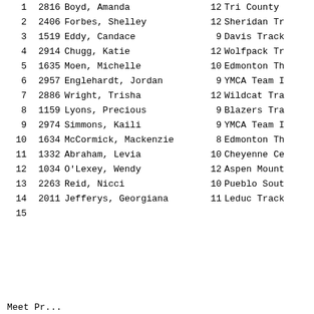| Rank | Bib | Name | Gr | Team |
| --- | --- | --- | --- | --- |
| 1 | 2816 | Boyd, Amanda | 12 | Tri County |
| 2 | 2406 | Forbes, Shelley | 12 | Sheridan Tr |
| 3 | 1519 | Eddy, Candace | 9 | Davis Track |
| 4 | 2914 | Chugg, Katie | 12 | Wolfpack Tr |
| 5 | 1635 | Moen, Michelle | 10 | Edmonton Th |
| 6 | 2957 | Englehardt, Jordan | 9 | YMCA Team I |
| 7 | 2886 | Wright, Trisha | 12 | Wildcat Tra |
| 8 | 1159 | Lyons, Precious | 9 | Blazers Tra |
| 9 | 2974 | Simmons, Kaili | 9 | YMCA Team I |
| 10 | 1634 | McCormick, Mackenzie | 8 | Edmonton Th |
| 11 | 1332 | Abraham, Levia | 10 | Cheyenne Ce |
| 12 | 1034 | O'Lexey, Wendy | 12 | Aspen Mount |
| 13 | 2263 | Reid, Nicci | 10 | Pueblo Sout |
| 14 | 2011 | Jefferys, Georgiana | 11 | Leduc Track |
| 15 |  |  |  |  |
Meet Pr...